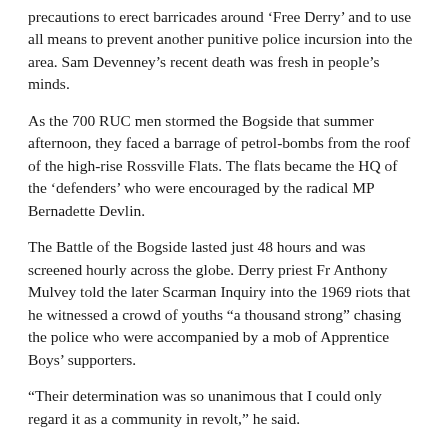precautions to erect barricades around ‘Free Derry’ and to use all means to prevent another punitive police incursion into the area. Sam Devenney’s recent death was fresh in people’s minds.
As the 700 RUC men stormed the Bogside that summer afternoon, they faced a barrage of petrol-bombs from the roof of the high-rise Rossville Flats. The flats became the HQ of the ‘defenders’ who were encouraged by the radical MP Bernadette Devlin.
The Battle of the Bogside lasted just 48 hours and was screened hourly across the globe. Derry priest Fr Anthony Mulvey told the later Scarman Inquiry into the 1969 riots that he witnessed a crowd of youths “a thousand strong” chasing the police who were accompanied by a mob of Apprentice Boys’ supporters.
“Their determination was so unanimous that I could only regard it as a community in revolt,” he said.
To the RUC commanders, however, the community revolt was a “further challenge to the authority of the Stormont government… and [an attempt] to discredit and destroy the police force”.